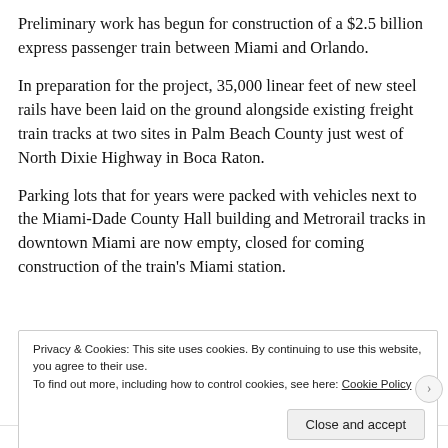Preliminary work has begun for construction of a $2.5 billion express passenger train between Miami and Orlando.
In preparation for the project, 35,000 linear feet of new steel rails have been laid on the ground alongside existing freight train tracks at two sites in Palm Beach County just west of North Dixie Highway in Boca Raton.
Parking lots that for years were packed with vehicles next to the Miami-Dade County Hall building and Metrorail tracks in downtown Miami are now empty, closed for coming construction of the train's Miami station.
Privacy & Cookies: This site uses cookies. By continuing to use this website, you agree to their use. To find out more, including how to control cookies, see here: Cookie Policy
Close and accept